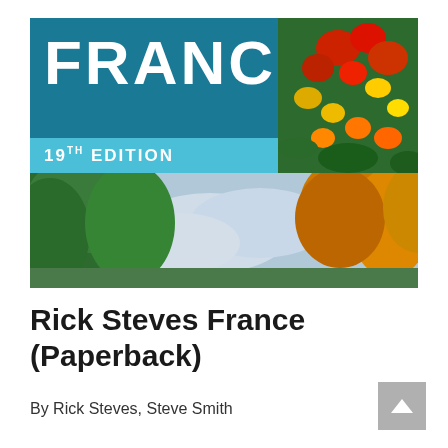[Figure (photo): Book cover of Rick Steves France 19th Edition. Top portion shows teal/blue background with 'FRANCE' in large white bold letters and '19TH EDITION' in a lighter teal band. Upper right has colorful red and yellow flowers. Lower portion shows a landscape with green foliage on left and cloudy sky in center with orange/gold trees on right.]
Rick Steves France (Paperback)
By Rick Steves, Steve Smith